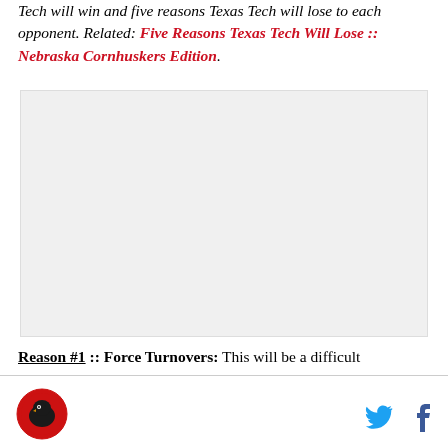Tech will win and five reasons Texas Tech will lose to each opponent. Related: Five Reasons Texas Tech Will Lose :: Nebraska Cornhuskers Edition.
[Figure (photo): Large image placeholder area, light gray background]
Reason #1 :: Force Turnovers: This will be a difficult
[Figure (logo): Circular red logo with black bird/wraith mascot icon (Raider Power / Texas Tech blog logo)]